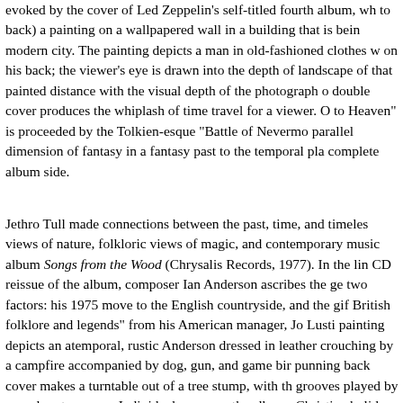evoked by the cover of Led Zeppelin's self-titled fourth album, wh to back) a painting on a wallpapered wall in a building that is bein modern city. The painting depicts a man in old-fashioned clothes w on his back; the viewer's eye is drawn into the depth of landscape of that painted distance with the visual depth of the photograph o double cover produces the whiplash of time travel for a viewer. O to Heaven" is proceeded by the Tolkien-esque "Battle of Nevermo parallel dimension of fantasy in a fantasy past to the temporal pla complete album side.
Jethro Tull made connections between the past, time, and timeles views of nature, folkloric views of magic, and contemporary music album Songs from the Wood (Chrysalis Records, 1977). In the lin CD reissue of the album, composer Ian Anderson ascribes the ge two factors: his 1975 move to the English countryside, and the gif British folklore and legends" from his American manager, Jo Lusti painting depicts an atemporal, rustic Anderson dressed in leather crouching by a campfire accompanied by dog, gun, and game bir punning back cover makes a turntable out of a tree stump, with th grooves played by a modern tone-arm. Individual songs on the alb pre-Christian holidays such as Beltane and the Winter Solstice, a character Jack-in-the-Green, along with temporally unspecific son